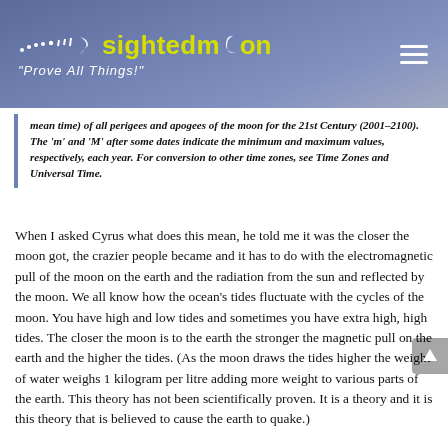sightedmoon "Prove All Things!"
mean time) of all perigees and apogees of the moon for the 21st Century (2001-2100). The 'm' and 'M' after some dates indicate the minimum and maximum values, respectively, each year. For conversion to other time zones, see Time Zones and Universal Time.
When I asked Cyrus what does this mean, he told me it was the closer the moon got, the crazier people became and it has to do with the electromagnetic pull of the moon on the earth and the radiation from the sun and reflected by the moon. We all know how the ocean's tides fluctuate with the cycles of the moon. You have high and low tides and sometimes you have extra high, high tides. The closer the moon is to the earth the stronger the magnetic pull on the earth and the higher the tides. (As the moon draws the tides higher the weight of water weighs 1 kilogram per litre adding more weight to various parts of the earth. This theory has not been scientifically proven. It is a theory and it is this theory that is believed to cause the earth to quake.)
Now I ask myself what has happened in the world during this time